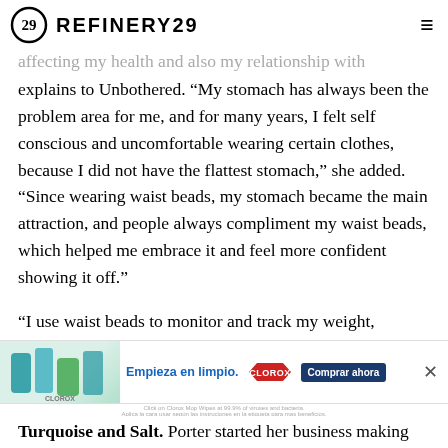REFINERY29
explains to Unbothered. "My stomach has always been the problem area for me, and for many years, I felt self conscious and uncomfortable wearing certain clothes, because I did not have the flattest stomach," she added. "Since wearing waist beads, my stomach became the main attraction, and people always compliment my waist beads, which helped me embrace it and feel more confident showing it off."
"I use waist beads to monitor and track my weight, however my primary reason for wearing [waist beads] is to help in keeping me anchored to myself, my intentions, and commitments made to myself," adds 32-year-old Timia Porter,  e store
[Figure (other): Clorox advertisement banner: Empieza en limpio. CLOROX. Comprar ahora.]
Turquoise and Salt. Porter started her business making